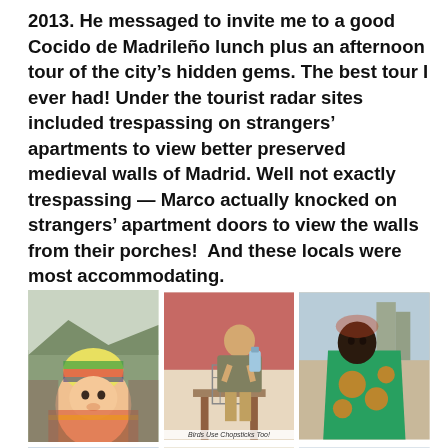2013. He messaged to invite me to a good Cocido de Madrileño lunch plus an afternoon tour of the city's hidden gems. The best tour I ever had! Under the tourist radar sites included trespassing on strangers' apartments to view better preserved medieval walls of Madrid. Well not exactly trespassing — Marco actually knocked on strangers' apartment doors to view the walls from their porches!  And these locals were most accommodating.
[Figure (photo): Three photos in a grid row: left photo shows an Asian baby wearing a colorful knit hat being carried; center photo shows a man interacting with a bird in a cage with caption 'Birds Use Chopsticks Too!'; right photo shows an African person wrapped in colorful traditional fabric.]
[Figure (photo): Three partially visible photos in a second row at the bottom of the page.]